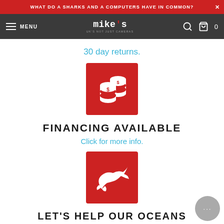WHAT DO A SHARKS AND A COMPUTERS HAVE IN COMMON? ×
[Figure (screenshot): Mike's Cameras navigation bar with hamburger menu, logo, search icon, and cart]
30 day returns.
[Figure (illustration): Red square icon with white stacked coins with dollar signs — financing icon]
FINANCING AVAILABLE
Click for more info.
[Figure (illustration): Red square icon with white dolphin jumping — ocean/dolphin icon]
LET'S HELP OUR OCEANS